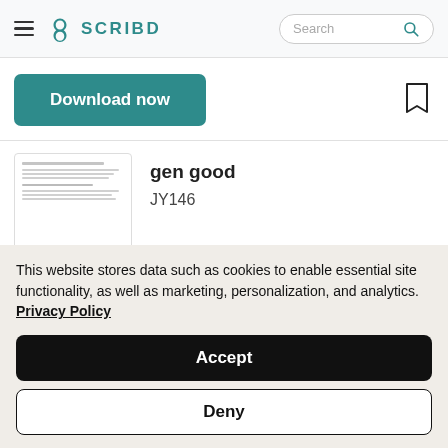SCRIBD
Download now
[Figure (screenshot): Thumbnail of a PDF document showing sheet music / document lines with a PDF badge]
gen good
JY146
This website stores data such as cookies to enable essential site functionality, as well as marketing, personalization, and analytics. Privacy Policy
Accept
Deny